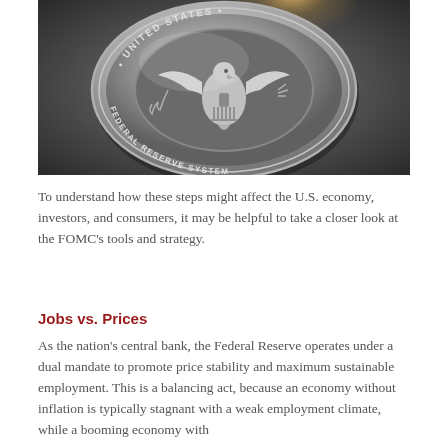[Figure (photo): Photograph of the United States Federal Reserve System seal/medallion, a silver/chrome circular emblem with an eagle in the center, on a dark metallic background with a light glow effect.]
To understand how these steps might affect the U.S. economy, investors, and consumers, it may be helpful to take a closer look at the FOMC’s tools and strategy.
Jobs vs. Prices
As the nation’s central bank, the Federal Reserve operates under a dual mandate to promote price stability and maximum sustainable employment. This is a balancing act, because an economy without inflation is typically stagnant with a weak employment climate, while a booming economy with